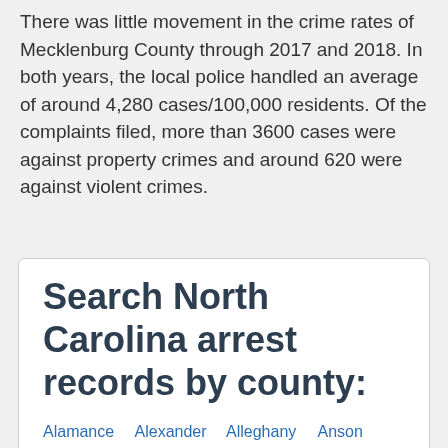There was little movement in the crime rates of Mecklenburg County through 2017 and 2018. In both years, the local police handled an average of around 4,280 cases/100,000 residents. Of the complaints filed, more than 3600 cases were against property crimes and around 620 were against violent crimes.
Search North Carolina arrest records by county:
Alamance
Alexander
Alleghany
Anson
Ashe
Avery
Beaufort
Bertie
Bladen
Brunswick
Buncombe
Burke